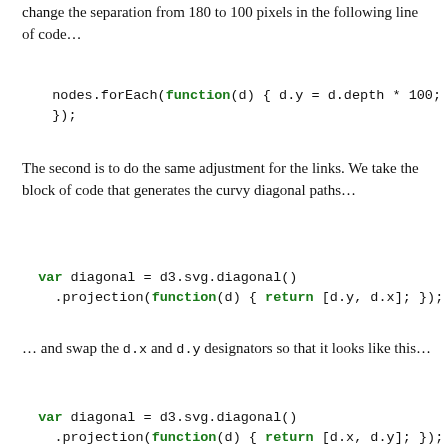change the separation from 180 to 100 pixels in the following line of code…
nodes.forEach(function(d) { d.y = d.depth * 100; });
The second is to do the same adjustment for the links. We take the block of code that generates the curvy diagonal paths…
var diagonal = d3.svg.diagonal()
  .projection(function(d) { return [d.y, d.x]; });
… and swap the d.x and d.y designators so that it looks like this…
var diagonal = d3.svg.diagonal()
  .projection(function(d) { return [d.x, d.y]; });
At this point we have our tree diagram ready to go except for one small detail…